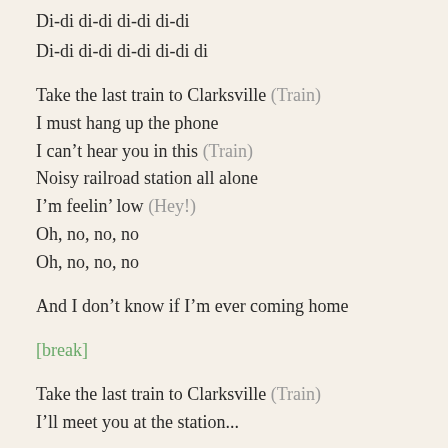Di-di di-di di-di di-di
Di-di di-di di-di di-di di
Take the last train to Clarksville (Train)
I must hang up the phone
I can't hear you in this (Train)
Noisy railroad station all alone
I'm feelin' low (Hey!)
Oh, no, no, no
Oh, no, no, no
And I don't know if I'm ever coming home
[break]
Take the last train to Clarksville (Train)
I'll meet you at the station...